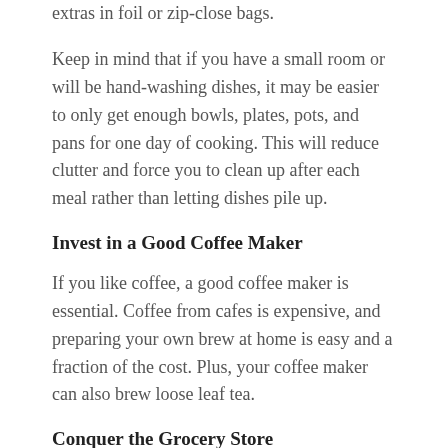extras in foil or zip-close bags.
Keep in mind that if you have a small room or will be hand-washing dishes, it may be easier to only get enough bowls, plates, pots, and pans for one day of cooking. This will reduce clutter and force you to clean up after each meal rather than letting dishes pile up.
Invest in a Good Coffee Maker
If you like coffee, a good coffee maker is essential. Coffee from cafes is expensive, and preparing your own brew at home is easy and a fraction of the cost. Plus, your coffee maker can also brew loose leaf tea.
Conquer the Grocery Store
Create a list of the groceries you need, and head to